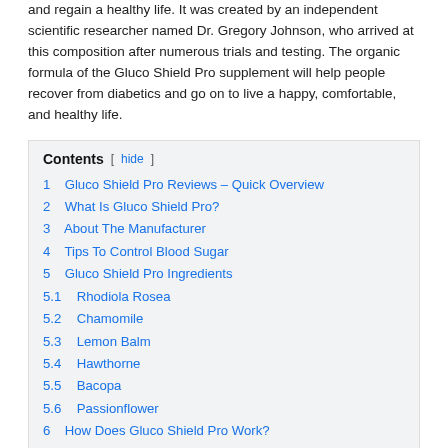and regain a healthy life. It was created by an independent scientific researcher named Dr. Gregory Johnson, who arrived at this composition after numerous trials and testing. The organic formula of the Gluco Shield Pro supplement will help people recover from diabetics and go on to live a happy, comfortable, and healthy life.
Contents [ hide ]
1  Gluco Shield Pro Reviews – Quick Overview
2  What Is Gluco Shield Pro?
3  About The Manufacturer
4  Tips To Control Blood Sugar
5  Gluco Shield Pro Ingredients
5.1  Rhodiola Rosea
5.2  Chamomile
5.3  Lemon Balm
5.4  Hawthorne
5.5  Bacopa
5.6  Passionflower
6  How Does Gluco Shield Pro Work?